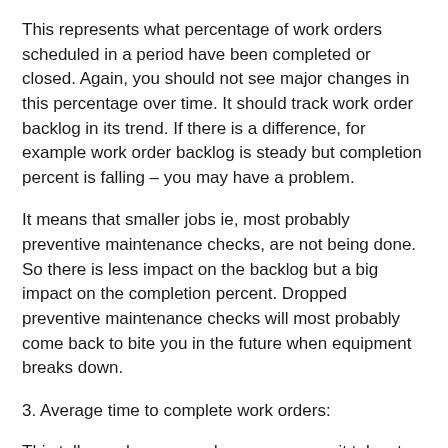This represents what percentage of work orders scheduled in a period have been completed or closed. Again, you should not see major changes in this percentage over time. It should track work order backlog in its trend. If there is a difference, for example work order backlog is steady but completion percent is falling – you may have a problem.
It means that smaller jobs ie, most probably preventive maintenance checks, are not being done. So there is less impact on the backlog but a big impact on the completion percent. Dropped preventive maintenance checks will most probably come back to bite you in the future when equipment breaks down.
3. Average time to complete work orders:
This tells you how many days on average it takes to complete a work order. You should not see large swings in this value over time. A large increase in this value is a signal that there may be problems completing work orders. You may have parts shortages or scheduling conflicts with maintenance technicians. To help fix this, it is better to